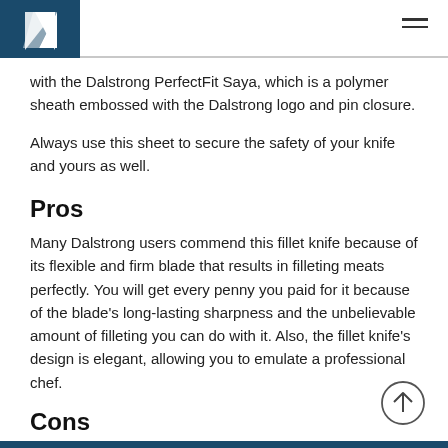[Figure (logo): Dalstrong logo: white angular sail/knife shape on dark blue square background]
with the Dalstrong PerfectFit Saya, which is a polymer sheath embossed with the Dalstrong logo and pin closure.
Always use this sheet to secure the safety of your knife and yours as well.
Pros
Many Dalstrong users commend this fillet knife because of its flexible and firm blade that results in filleting meats perfectly. You will get every penny you paid for it because of the blade's long-lasting sharpness and the unbelievable amount of filleting you can do with it. Also, the fillet knife's design is elegant, allowing you to emulate a professional chef.
Cons